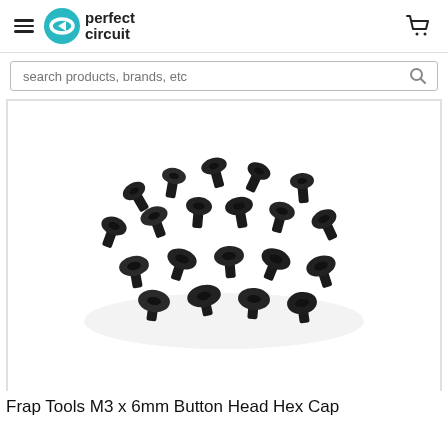perfect circuit — navigation header with hamburger menu, logo, and cart icon
search products, brands, etc
[Figure (photo): A pile of black M3 x 6mm button head hex cap screws on a white background]
Frap Tools M3 x 6mm Button Head Hex Cap